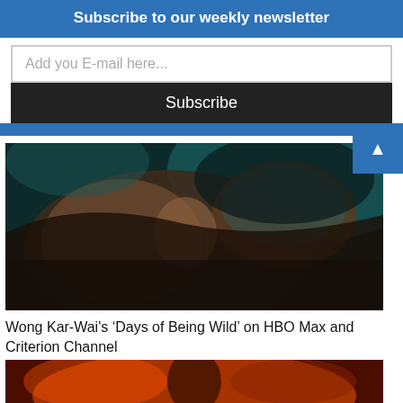Subscribe to our weekly newsletter
Add you E-mail here...
Subscribe
[Figure (photo): Close-up cinematic still from Wong Kar-Wai film showing a person reclining with teal/dark atmospheric lighting]
Wong Kar-Wai's ‘Days of Being Wild’ on HBO Max and Criterion Channel
[Figure (photo): Partially visible image at bottom with orange and red warm tones, appears to be another film still]